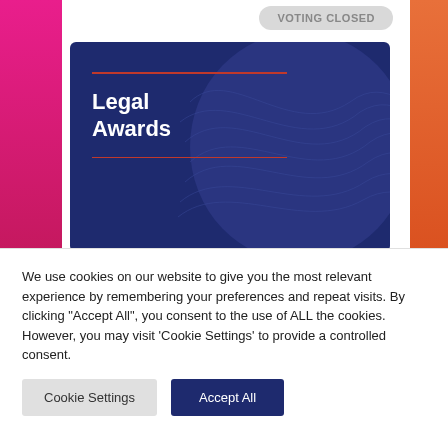VOTING CLOSED
[Figure (logo): Legal Awards logo card with dark navy blue background, decorative wave lines, red horizontal rules, and white bold text reading 'Legal Awards']
VOTING CLOSED
We use cookies on our website to give you the most relevant experience by remembering your preferences and repeat visits. By clicking "Accept All", you consent to the use of ALL the cookies. However, you may visit 'Cookie Settings' to provide a controlled consent.
Cookie Settings
Accept All